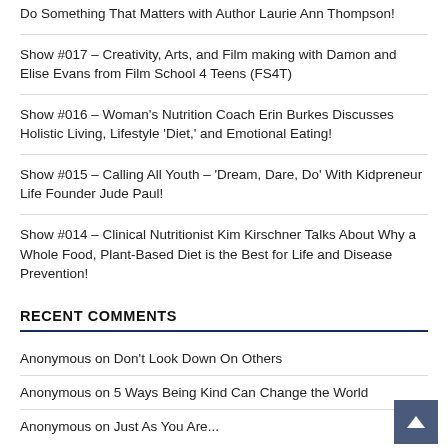Do Something That Matters with Author Laurie Ann Thompson!
Show #017 – Creativity, Arts, and Film making with Damon and Elise Evans from Film School 4 Teens (FS4T)
Show #016 – Woman's Nutrition Coach Erin Burkes Discusses Holistic Living, Lifestyle 'Diet,' and Emotional Eating!
Show #015 – Calling All Youth – 'Dream, Dare, Do' With Kidpreneur Life Founder Jude Paul!
Show #014 – Clinical Nutritionist Kim Kirschner Talks About Why a Whole Food, Plant-Based Diet is the Best for Life and Disease Prevention!
RECENT COMMENTS
Anonymous on Don't Look Down On Others
Anonymous on 5 Ways Being Kind Can Change the World
Anonymous on Just As You Are...